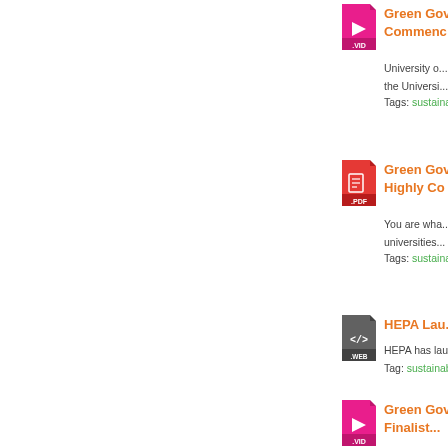[Figure (illustration): Pink/magenta document icon with play button and .VID label]
Green Gov Commenc...
University o... the Universi...
Tags: sustaina...
[Figure (illustration): Red document icon with PDF symbol and .PDF label]
Green Gov Highly Co...
You are wha... universities...
Tags: sustaina...
[Figure (illustration): Dark grey document icon with </> code symbol and .WEB label]
HEPA Lau...
HEPA has lau...
Tag: sustainab...
[Figure (illustration): Pink/magenta document icon with play button and .VID label]
Green Gov Finalist...